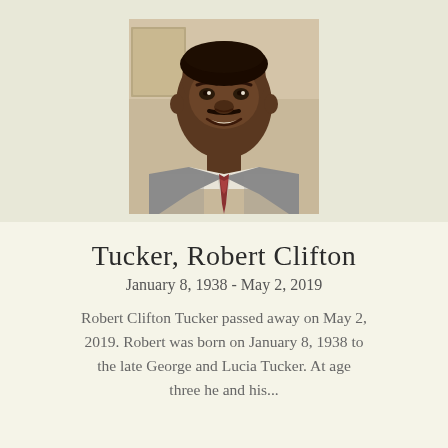[Figure (photo): Headshot portrait of Robert Clifton Tucker, a smiling Black man in a grey suit and tie, photographed indoors.]
Tucker, Robert Clifton
January 8, 1938 - May 2, 2019
Robert Clifton Tucker passed away on May 2, 2019. Robert was born on January 8, 1938 to the late George and Lucia Tucker. At age three he and his...